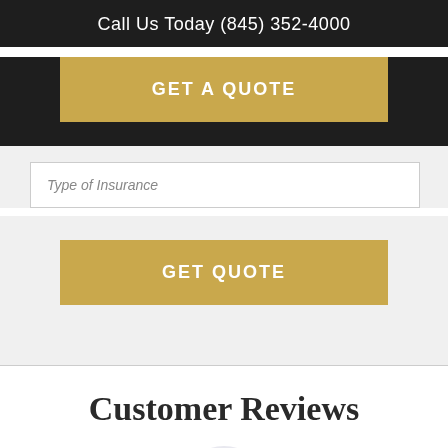Call Us Today (845) 352-4000
GET A QUOTE
Type of Insurance
GET QUOTE
Customer Reviews